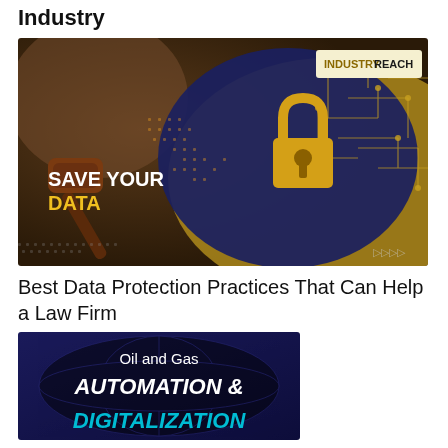Industry
[Figure (illustration): Cybersecurity themed banner with a golden padlock on a circuit board background, a judge's gavel on the left, text 'SAVE YOUR DATA' in white/yellow, and 'INDUSTRY REACH' logo in top right corner. Small 'DDDD' watermark bottom right.]
Best Data Protection Practices That Can Help a Law Firm
[Figure (illustration): Dark navy/purple background banner with text 'Oil and Gas' in white, 'AUTOMATION &' in bold white italic, and 'DIGITALIZATION' in bold cyan/teal italic below.]